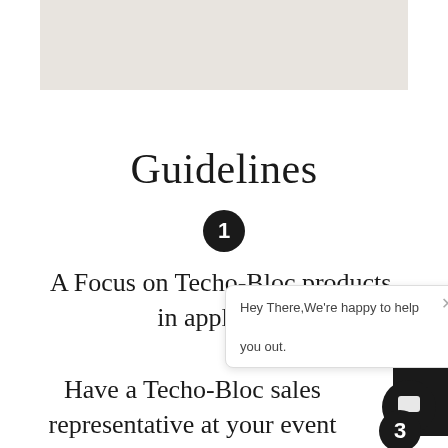[Figure (photo): Greyed-out placeholder image at top of page]
Guidelines
1 — A Focus on Techo-Bloc products, in applicable
2 — Have a Techo-Bloc sales representative at your event
3